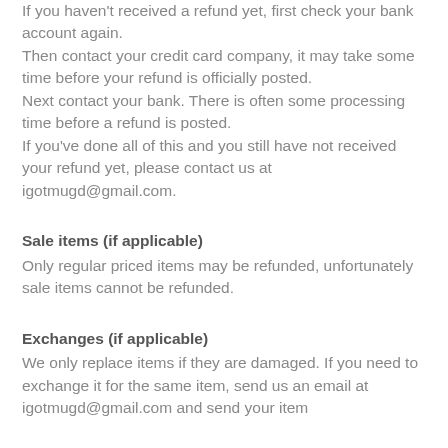If you haven't received a refund yet, first check your bank account again.
Then contact your credit card company, it may take some time before your refund is officially posted.
Next contact your bank. There is often some processing time before a refund is posted.
If you've done all of this and you still have not received your refund yet, please contact us at igotmugd@gmail.com.
Sale items (if applicable)
Only regular priced items may be refunded, unfortunately sale items cannot be refunded.
Exchanges (if applicable)
We only replace items if they are damaged. If you need to exchange it for the same item, send us an email at igotmugd@gmail.com and send your item